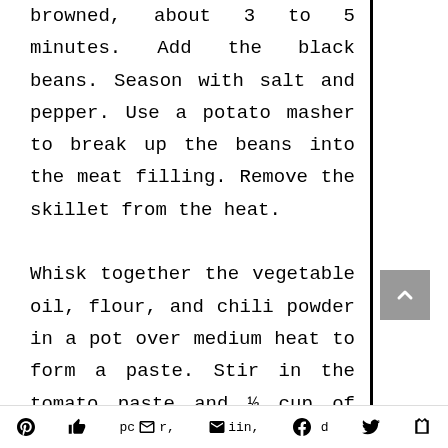browned, about 3 to 5 minutes. Add the black beans. Season with salt and pepper. Use a potato masher to break up the beans into the meat filling. Remove the skillet from the heat.

Whisk together the vegetable oil, flour, and chili powder in a pot over medium heat to form a paste. Stir in the tomato paste and ½ cup of water. Stir in onion powder, garlic pc r, in, d
pc r, in, d